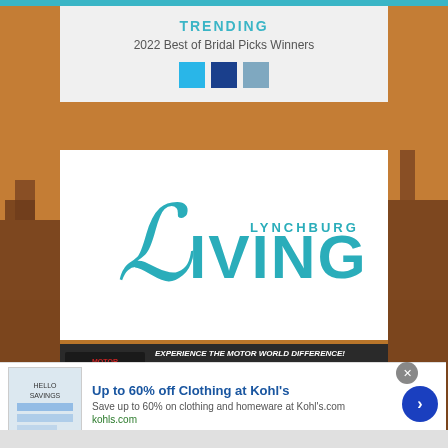TRENDING
2022 Best of Bridal Picks Winners
[Figure (logo): Three colored squares: light blue, dark blue, steel blue]
[Figure (logo): Lynchburg Living magazine logo in teal cursive and bold font]
[Figure (infographic): Motor World advertisement banner: EXPERIENCE THE MOTOR WORLD DIFFERENCE! with red cars and SHOP NOW button]
Up to 60% off Clothing at Kohl's
Save up to 60% on clothing and homeware at Kohl's.com
kohls.com